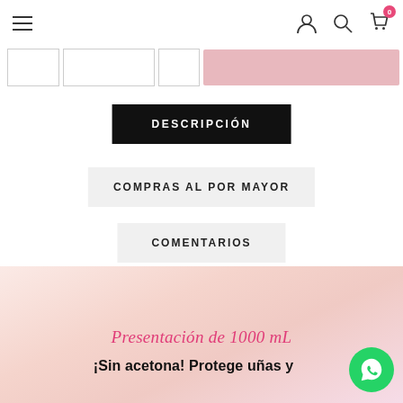Navigation bar with hamburger menu, user icon, search icon, cart icon (0)
[Figure (screenshot): Thumbnail strip with small product image boxes and a pink add-to-cart button area partially visible at top]
DESCRIPCIÓN
COMPRAS AL POR MAYOR
COMENTARIOS
Presentación de 1000 mL
¡Sin acetona! Protege uñas y